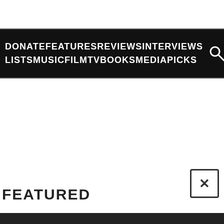DONATE FEATURES REVIEWS INTERVIEWS LISTS MUSIC FILM TV BOOKS MEDIA PICKS
[Figure (other): Close/dismiss button with X icon, square bordered box]
FEATURED